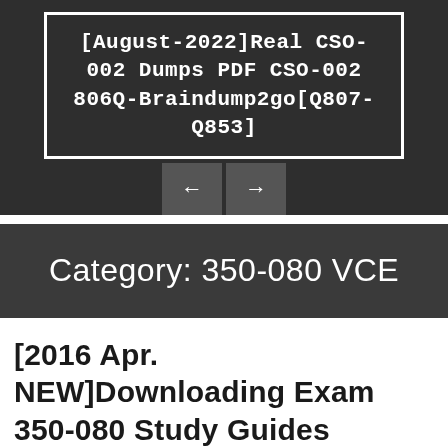[August-2022]Real CSO-002 Dumps PDF CSO-002 806Q-Braindump2go[Q807-Q853]
[Figure (other): Navigation arrow buttons: left arrow and right arrow on dark background]
Category: 350-080 VCE
[2016 Apr. NEW]Downloading Exam 350-080 Study Guides